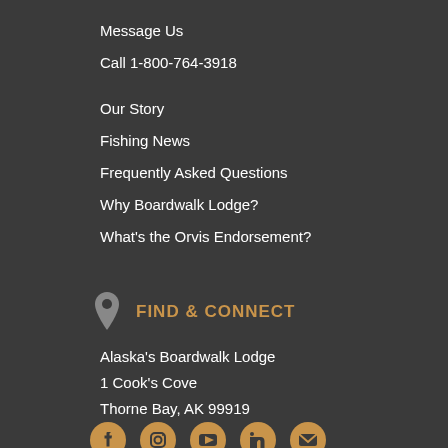Message Us
Call 1-800-764-3918
Our Story
Fishing News
Frequently Asked Questions
Why Boardwalk Lodge?
What's the Orvis Endorsement?
FIND & CONNECT
Alaska's Boardwalk Lodge
1 Cook's Cove
Thorne Bay, AK 99919
[Figure (infographic): Social media icons row: Facebook, Instagram, YouTube, LinkedIn, Email — all in gold/amber color]